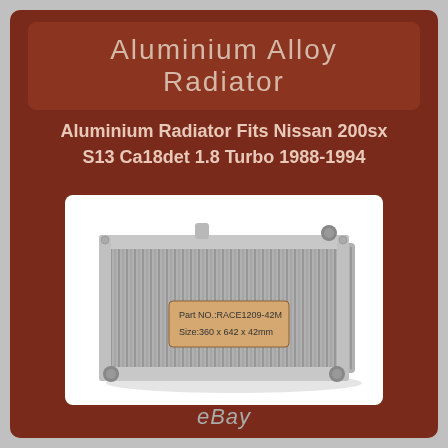Aluminium Alloy Radiator
Aluminium Radiator Fits Nissan 200sx S13 Ca18det 1.8 Turbo 1988-1994
[Figure (photo): Photo of an aluminium alloy radiator with a label showing Part NO.:RACE1209-42M and Size:360 x 642 x 42mm]
eBay